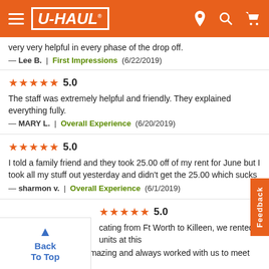U-HAUL
very very helpful in every phase of the drop off.
— Lee B.  |  First Impressions  (6/22/2019)
★★★★★ 5.0
The staff was extremely helpful and friendly. They explained everything fully.
— MARY L.  |  Overall Experience  (6/20/2019)
★★★★★ 5.0
I told a family friend and they took 25.00 off of my rent for June but I took all my stuff out yesterday and didn't get the 25.00 which sucks
— sharmon v.  |  Overall Experience  (6/1/2019)
5.0
...cating from Ft Worth to Killeen, we rented 6 units at this facility. The staff are amazing and always worked with us to meet our